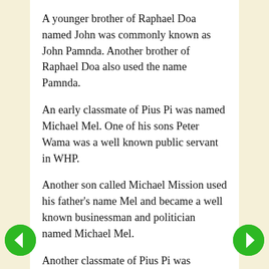A younger brother of Raphael Doa named John was commonly known as John Pamnda. Another brother of Raphael Doa also used the name Pamnda.
An early classmate of Pius Pi was named Michael Mel. One of his sons Peter Wama was a well known public servant in WHP.
Another son called Michael Mission used his father's name Mel and became a well known businessman and politician named Michael Mel.
Another classmate of Pius Pi was Jacobus Kup, whose children did tend to use Kup as a family name, and one of his sons was John Kup who as a local kiap was probably known to Phil